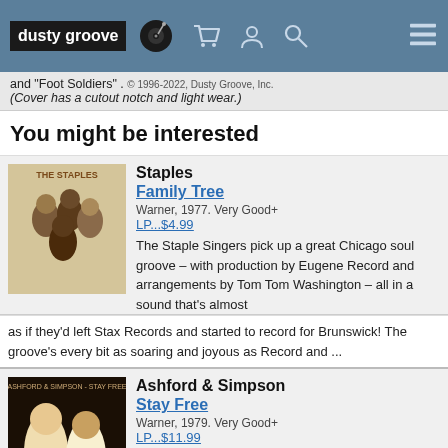dusty groove [logo with vinyl icon, cart icon, user icon, search icon, menu icon]
and "Foot Soldiers" . © 1996-2022, Dusty Groove, Inc.
(Cover has a cutout notch and light wear.)
You might be interested
Staples
Family Tree
Warner, 1977. Very Good+
LP...$4.99
The Staple Singers pick up a great Chicago soul groove – with production by Eugene Record and arrangements by Tom Tom Washington – all in a sound that's almost as if they'd left Stax Records and started to record for Brunswick! The groove's every bit as soaring and joyous as Record and ...
Ashford & Simpson
Stay Free
Warner, 1979. Very Good+
LP...$11.99
Great stuff! From Motown songwriters to world-class superstars, the trip was a well-deserved one for Valerie Simpson and Nick Ashford – and this album's perhaps their crowning achievement in sophisticated club soul! The record's got a great groove that offers a more soulful version of disco ...